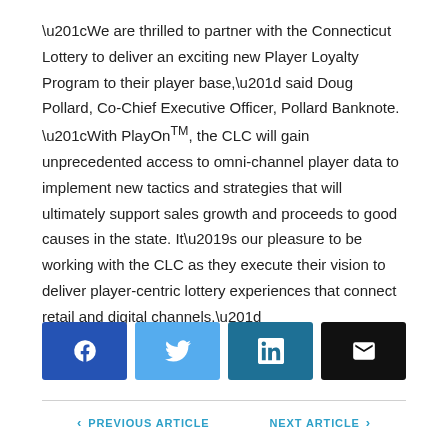“We are thrilled to partner with the Connecticut Lottery to deliver an exciting new Player Loyalty Program to their player base,” said Doug Pollard, Co-Chief Executive Officer, Pollard Banknote. “With PlayOn™, the CLC will gain unprecedented access to omni-channel player data to implement new tactics and strategies that will ultimately support sales growth and proceeds to good causes in the state. It’s our pleasure to be working with the CLC as they execute their vision to deliver player-centric lottery experiences that connect retail and digital channels.”
[Figure (other): Social sharing buttons: Facebook (blue), Twitter (light blue), LinkedIn (dark teal), Email (black)]
< PREVIOUS ARTICLE    NEXT ARTICLE >